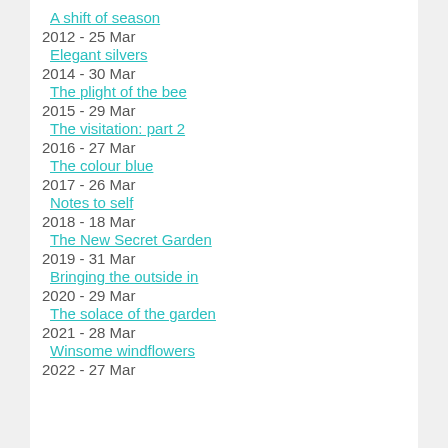A shift of season
2012 - 25 Mar
Elegant silvers
2014 - 30 Mar
The plight of the bee
2015 - 29 Mar
The visitation: part 2
2016 - 27 Mar
The colour blue
2017 - 26 Mar
Notes to self
2018 - 18 Mar
The New Secret Garden
2019 - 31 Mar
Bringing the outside in
2020 - 29 Mar
The solace of the garden
2021 - 28 Mar
Winsome windflowers
2022 - 27 Mar